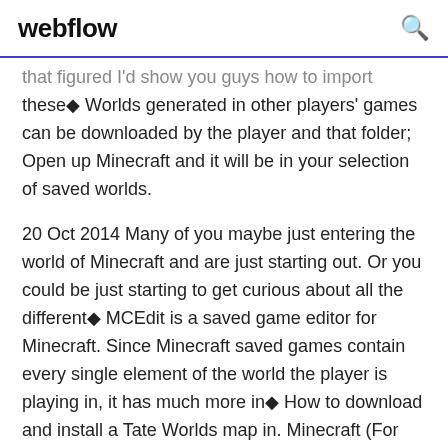webflow
that figured I'd show you guys how to import these◆ Worlds generated in other players' games can be downloaded by the player and that folder; Open up Minecraft and it will be in your selection of saved worlds.
20 Oct 2014 Many of you maybe just entering the world of Minecraft and are just starting out. Or you could be just starting to get curious about all the different◆ MCEdit is a saved game editor for Minecraft. Since Minecraft saved games contain every single element of the world the player is playing in, it has much more in◆ How to download and install a Tate Worlds map in. Minecraft (For Windows. For